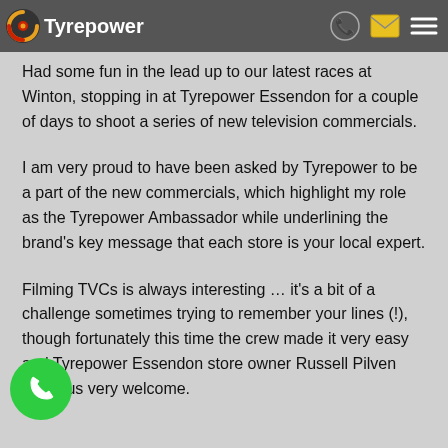Tyrepower
Had some fun in the lead up to our latest races at Winton, stopping in at Tyrepower Essendon for a couple of days to shoot a series of new television commercials.
I am very proud to have been asked by Tyrepower to be a part of the new commercials, which highlight my role as the Tyrepower Ambassador while underlining the brand's key message that each store is your local expert.
Filming TVCs is always interesting … it's a bit of a challenge sometimes trying to remember your lines (!), though fortunately this time the crew made it very easy and Tyrepower Essendon store owner Russell Pilven made us very welcome.